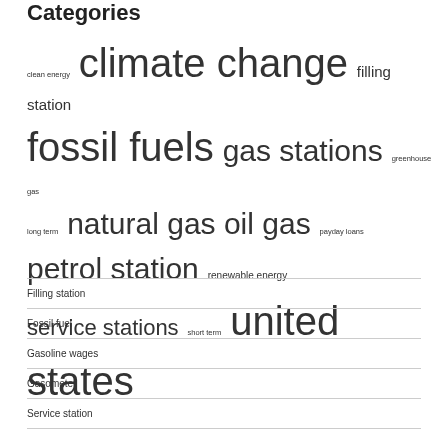Categories
[Figure (infographic): Word cloud with tags of varying font sizes representing category frequency: clean energy (small), climate change (very large), filling station (medium-large), fossil fuels (very large), gas stations (large), greenhouse gas (small), long term (small), natural gas (xlarge), oil (xlarge), gas (xlarge), payday loans (small), petrol station (xlarge), renewable energy (medium), service stations (large), short term (small), united states (very large)]
Filling station
Fossil fuel
Gasoline wages
Gasometer
Service station